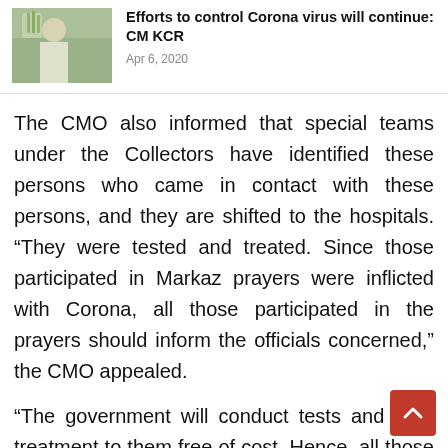[Figure (photo): Thumbnail photo of a man in white shirt sitting at a desk with plants visible, associated with an article about CM KCR and Corona virus control efforts.]
Efforts to control Corona virus will continue: CM KCR
Apr 6, 2020
The CMO also informed that special teams under the Collectors have identified these persons who came in contact with these persons, and they are shifted to the hospitals. “They were tested and treated. Since those participated in Markaz prayers were inflicted with Corona, all those participated in the prayers should inform the officials concerned,” the CMO appealed.
“The government will conduct tests and offer treatment to them free of cost. Hence, all those who went for the Markaz prayers in Delhi shou…